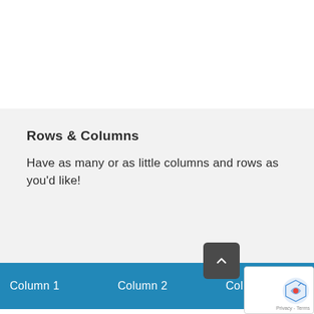Rows & Columns
Have as many or as little columns and rows as you'd like!
| Column 1 | Column 2 | Column 3 | Column 4 |
| --- | --- | --- | --- |
| Item #1 | Description | Type | Color |
| Item #2 | Description | Type | Color |